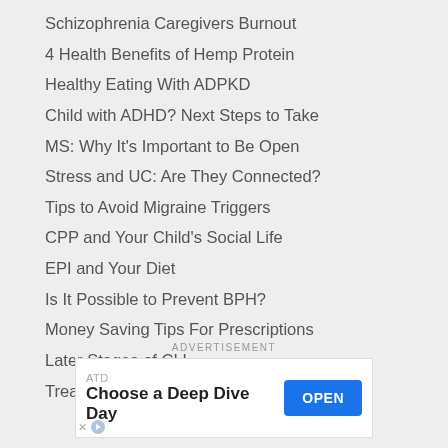Schizophrenia Caregivers Burnout
4 Health Benefits of Hemp Protein
Healthy Eating With ADPKD
Child with ADHD? Next Steps to Take
MS: Why It's Important to Be Open
Stress and UC: Are They Connected?
Tips to Avoid Migraine Triggers
CPP and Your Child's Social Life
EPI and Your Diet
Is It Possible to Prevent BPH?
Money Saving Tips For Prescriptions
Later Stages of CLL
Treat Blocked Hair Follicles
ADVERTISEMENT
[Figure (other): ATD advertisement banner with text 'Choose a Deep Dive Day' and an OPEN button]